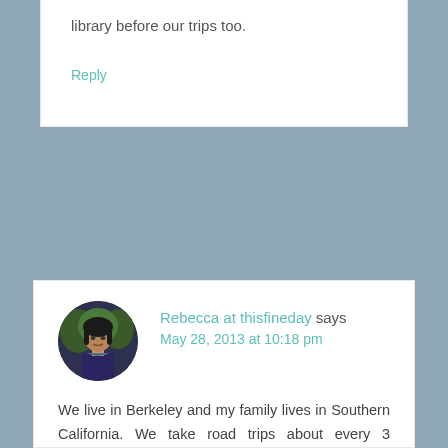library before our trips too.
Reply
Rebecca at thisfineday says
May 28, 2013 at 10:18 pm
We live in Berkeley and my family lives in Southern California. We take road trips about every 3 months… Our go to tricks- SNACKS!! Books, Coloring books, dolls, a lot of pop music and singing and when that's all done with and everyone is bored we break down and play a movie in our mini van (which I'm still trying to get used to owning!)